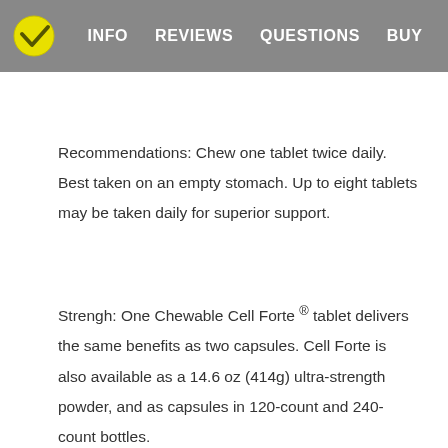INFO  REVIEWS  QUESTIONS  BUY
Recommendations: Chew one tablet twice daily. Best taken on an empty stomach. Up to eight tablets may be taken daily for superior support.
Strengh: One Chewable Cell Forte ®  tablet delivers the same benefits as two capsules. Cell Forte is also available as a 14.6 oz (414g) ultra-strength powder, and as capsules in 120-count and 240-count bottles.